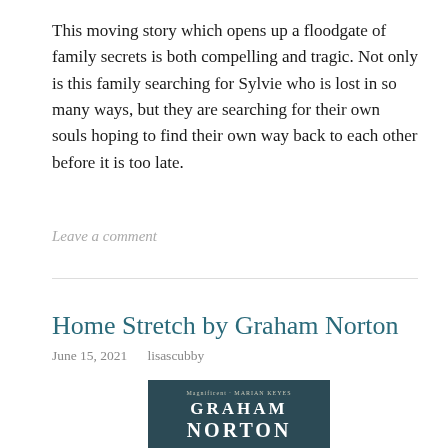This moving story which opens up a floodgate of family secrets is both compelling and tragic. Not only is this family searching for Sylvie who is lost in so many ways, but they are searching for their own souls hoping to find their own way back to each other before it is too late.
Leave a comment
Home Stretch by Graham Norton
June 15, 2021   lisascubby
[Figure (photo): Book cover of 'Home Stretch' by Graham Norton — dark teal/slate background with author name GRAHAM NORTON in large white bold letters and small text above reading 'Magnificent - MARIAN KEYES']